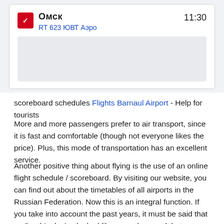[Figure (screenshot): Flight card showing Omsk destination, time 11:30, flight RT 623 ЮВТ Аэро, with airline logo icon in red, followed by a grey advertisement placeholder box below.]
scoreboard schedules Flights Barnaul Airport - Help for tourists
More and more passengers prefer to air transport, since it is fast and comfortable (though not everyone likes the price). Plus, this mode of transportation has an excellent service.
Another positive thing about flying is the use of an online flight schedule / scoreboard. By visiting our website, you can find out about the timetables of all airports in the Russian Federation. Now this is an integral function. If you take into account the past years, it must be said that earlier this device looked like a regular panel that was placed in each departure and arrival hall. Over time, information on flights began to be displayed on television screens. But now, considering the rapid development of technology, passengers are able to find out the schedule of flights using an electronic scoreboard. Perhaps the main advantage of this system is the provision of important information to passengers. Regardless of